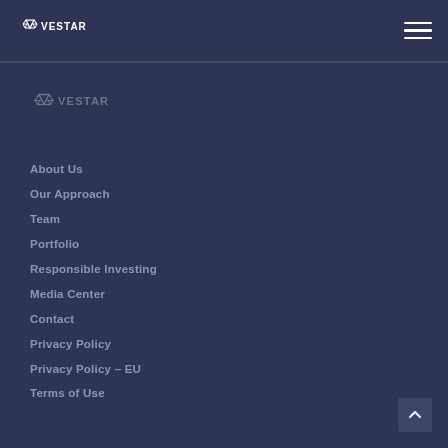VESTAR navigation header with hamburger menu
[Figure (logo): Vestar logo - white triangular V icon with VESTAR text, navigation area version in muted blue-gray]
About Us
Our Approach
Team
Portfolio
Responsible Investing
Media Center
Contact
Privacy Policy
Privacy Policy – EU
Terms of Use